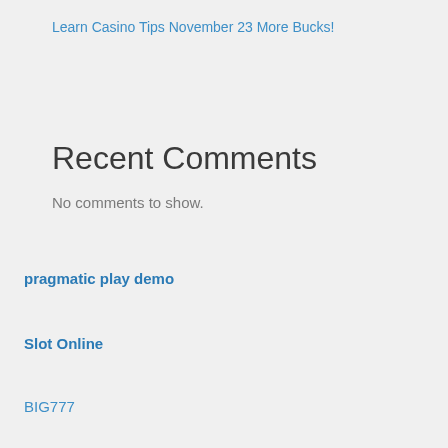Learn Casino Tips November 23 More Bucks!
Recent Comments
No comments to show.
pragmatic play demo
Slot Online
BIG777